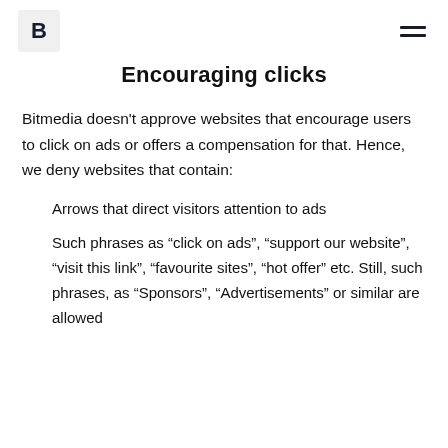B [logo] [hamburger menu]
Encouraging clicks
Bitmedia doesn't approve websites that encourage users to click on ads or offers a compensation for that. Hence, we deny websites that contain:
Arrows that direct visitors attention to ads
Such phrases as “click on ads”, “support our website”, “visit this link”, “favourite sites”, “hot offer” etc. Still, such phrases, as “Sponsors”, “Advertisements” or similar are allowed